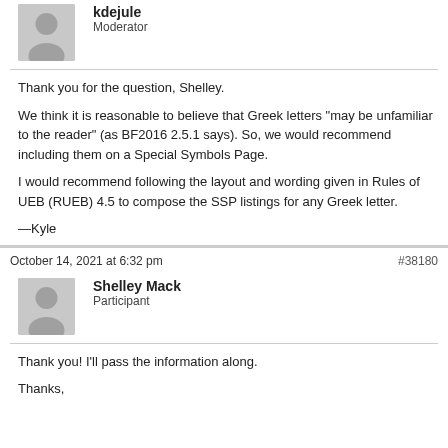[Figure (illustration): Grey avatar silhouette for moderator user kdejule]
kdejule
Moderator
Thank you for the question, Shelley.

We think it is reasonable to believe that Greek letters "may be unfamiliar to the reader" (as BF2016 2.5.1 says). So, we would recommend including them on a Special Symbols Page.

I would recommend following the layout and wording given in Rules of UEB (RUEB) 4.5 to compose the SSP listings for any Greek letter.

—Kyle
October 14, 2021 at 6:32 pm
#38180
[Figure (illustration): Grey avatar silhouette for participant Shelley Mack]
Shelley Mack
Participant
Thank you! I'll pass the information along.

Thanks,